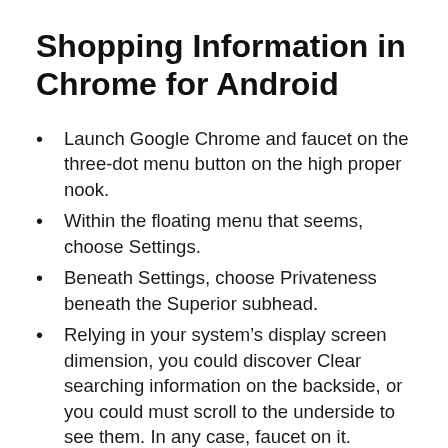Shopping Information in Chrome for Android
Launch Google Chrome and faucet on the three-dot menu button on the high proper nook.
Within the floating menu that seems, choose Settings.
Beneath Settings, choose Privateness beneath the Superior subhead.
Relying in your system’s display screen dimension, you could discover Clear searching information on the backside, or you could must scroll to the underside to see them. In any case, faucet on it.
There may be another simpler solution to entry the Clear Shopping Information settings, however